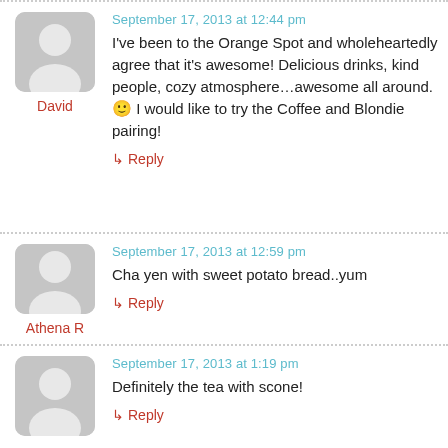[Figure (illustration): User avatar placeholder for David]
David
September 17, 2013 at 12:44 pm
I've been to the Orange Spot and wholeheartedly agree that it's awesome! Delicious drinks, kind people, cozy atmosphere...awesome all around. 🙂 I would like to try the Coffee and Blondie pairing!
↳ Reply
[Figure (illustration): User avatar placeholder for Athena R]
Athena R
September 17, 2013 at 12:59 pm
Cha yen with sweet potato bread..yum
↳ Reply
[Figure (illustration): User avatar placeholder (unnamed)]
September 17, 2013 at 1:19 pm
Definitely the tea with scone!
↳ Reply